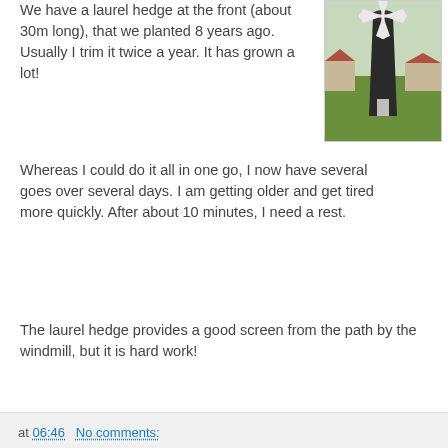We have a laurel hedge at the front (about 30m long), that we planted 8 years ago. Usually I trim it twice a year. It has grown a lot!
[Figure (photo): A tall black windmill with white sails, standing next to a dark laurel hedge, with houses visible in the background.]
Whereas I could do it all in one go, I now have several goes over several days. I am getting older and get tired more quickly. After about 10 minutes, I need a rest.
The laurel hedge provides a good screen from the path by the windmill, but it is hard work!
at 06:46   No comments:
Share
Sunspots - Sunday June 20th 2021
Solar flux is 77 and the SSN 25. A=4 and K=1.